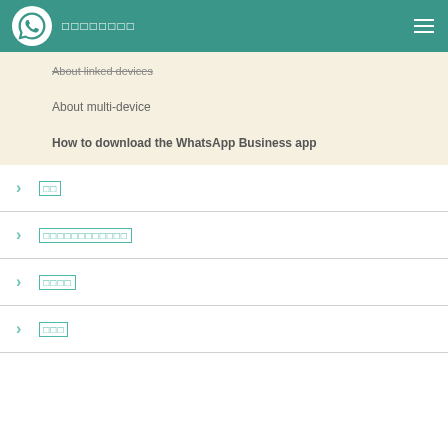WhatsApp
About linked devices
About multi-device
How to download the WhatsApp Business app
联系
安装与使用说明文档
隐私策略
法律条款